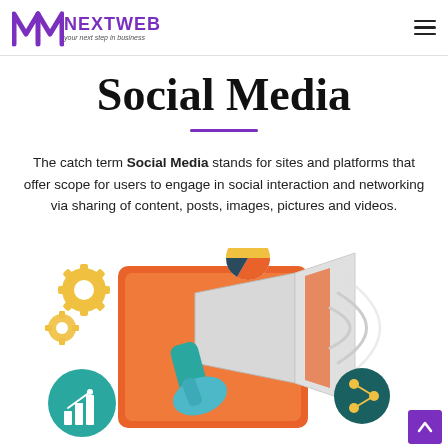NEXTWEB — your next step in business
Social Media
The catch term Social Media stands for sites and platforms that offer scope for users to engage in social interaction and networking via sharing of content, posts, images, pictures and videos.
[Figure (illustration): Marketing illustration showing a hand holding a megaphone emerging from an orange tablet/phone screen, with gear icons, a pie chart, a bar chart icon in a teal circle, sound waves, and a teal circle with a share icon.]